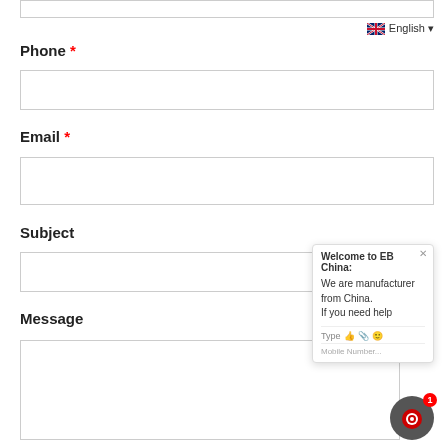[Figure (screenshot): Top input box (partially visible, cut off at top)]
English ▾
Phone *
[Figure (screenshot): Phone input field (empty text box)]
Email *
[Figure (screenshot): Email input field (empty text box)]
Subject
[Figure (screenshot): Subject input field (empty text box)]
Message
[Figure (screenshot): Message textarea (empty, large box)]
Welcome to EB China:
We are manufacturer from China.
If you need help
Type